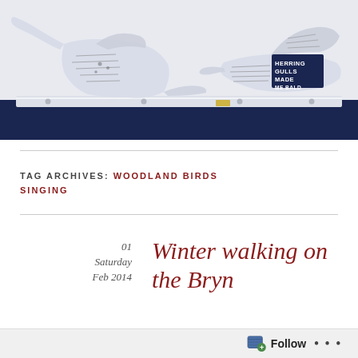[Figure (photo): Two bird sculptures made from newspaper/printed paper, perched on a white metal rail with a dark navy blue background. One bird faces left with open beak, the other faces right with a newspaper clipping visible reading 'GULLS MADE ME BALD'.]
TAG ARCHIVES: WOODLAND BIRDS SINGING
Winter walking on the Bryn
01 Saturday Feb 2014
POSTED BY THERESAGREEN IN BRYN FURYN    ≈ 4 COMMENTS